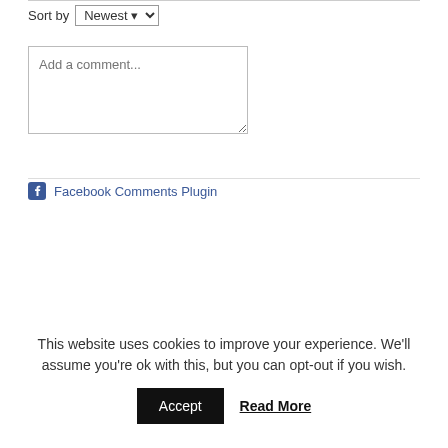Sort by Newest
Add a comment...
Facebook Comments Plugin
This website uses cookies to improve your experience. We'll assume you're ok with this, but you can opt-out if you wish.
Accept
Read More